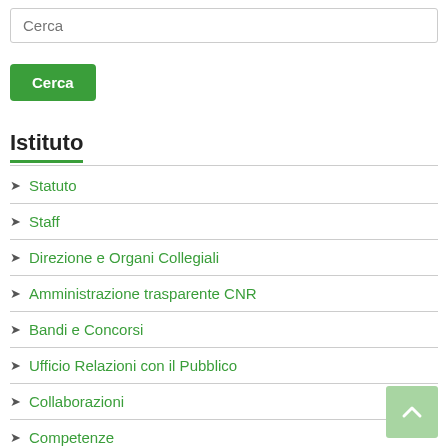Cerca
Cerca
Istituto
Statuto
Staff
Direzione e Organi Collegiali
Amministrazione trasparente CNR
Bandi e Concorsi
Ufficio Relazioni con il Pubblico
Collaborazioni
Competenze
Ricerca
Strumentazione